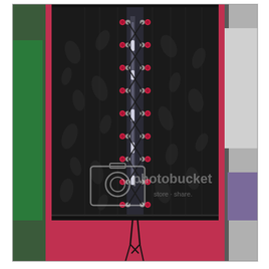[Figure (photo): Photograph of a black brocade underbust corset with floral pattern, displayed on a red/pink dress form mannequin. The corset is laced up the back with a black lace, showing metal grommets (silver and pink/red) arranged vertically down the center back. A Photobucket watermark is overlaid on the image. Background shows a room with furniture and fabrics.]